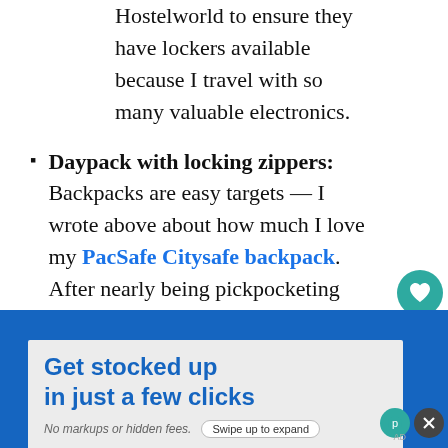Hostelworld to ensure they have lockers available because I travel with so many valuable electronics.
Daypack with locking zippers: Backpacks are easy targets — I wrote above about how much I love my PacSafe Citysafe backpack. After nearly being pickpocketing while wearing a different backpack in Vietnam, I
[Figure (other): Advertisement banner: 'Get stocked up in just a few clicks. No markups or hidden fees. Swipe up to expand.']